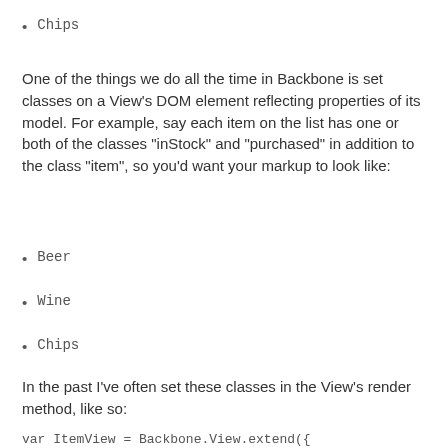Chips
One of the things we do all the time in Backbone is set classes on a View's DOM element reflecting properties of its model. For example, say each item on the list has one or both of the classes "inStock" and "purchased" in addition to the class "item", so you'd want your markup to look like:
Beer
Wine
Chips
In the past I've often set these classes in the View's render method, like so: